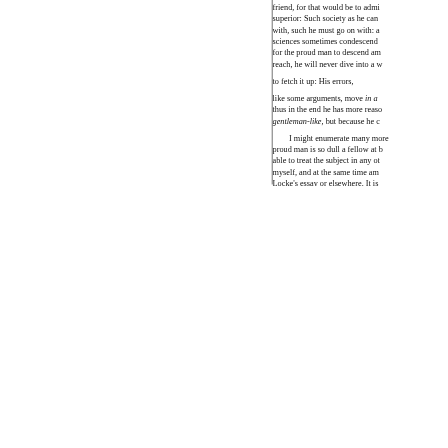friend, for that would be to admi superior: Such society as he can with, such he must go on with: a sciences sometimes condescend for the proud man to descend am reach, he will never dive into a w to fetch it up: His errors, like some arguments, move in a thus in the end he has more reaso gentleman-like, but because he c
    I might enumerate many more proud man is so dull a fellow at b able to treat the subject in any ot myself, and at the same time am Locke's essay or elsewhere. It is bring to mind nothing under that or to ourselves. The sensual pass the generous attributes, such as v respect to our fellow-creatures; t present praise, and in the anticip purer virtues of self-denial, resig alone, they offer no gratification